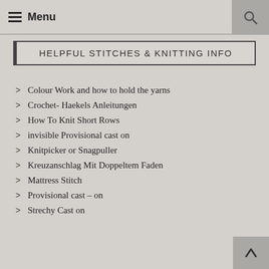Menu
HELPFUL STITCHES & KNITTING INFO
Colour Work and how to hold the yarns
Crochet- Haekels Anleitungen
How To Knit Short Rows
invisible Provisional cast on
Knitpicker or Snagpuller
Kreuzanschlag Mit Doppeltem Faden
Mattress Stitch
Provisional cast – on
Strechy Cast on